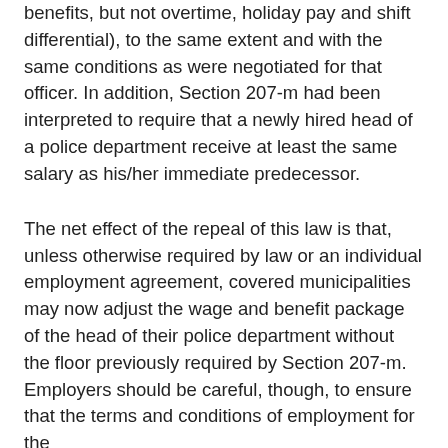benefits, but not overtime, holiday pay and shift differential), to the same extent and with the same conditions as were negotiated for that officer. In addition, Section 207-m had been interpreted to require that a newly hired head of a police department receive at least the same salary as his/her immediate predecessor.
The net effect of the repeal of this law is that, unless otherwise required by law or an individual employment agreement, covered municipalities may now adjust the wage and benefit package of the head of their police department without the floor previously required by Section 207-m. Employers should be careful, though, to ensure that the terms and conditions of employment for the